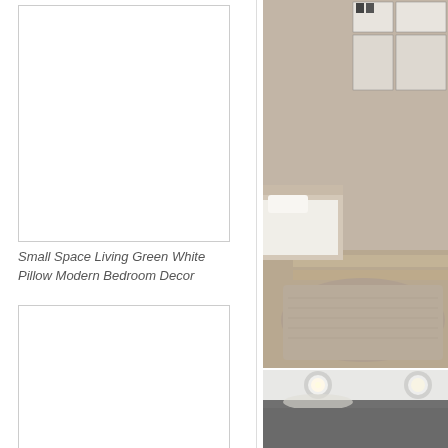[Figure (photo): Empty white image box with border, top left]
Small Space Living Green White Pillow Modern Bedroom Decor
[Figure (photo): Empty white image box with border, middle left]
6
[Figure (photo): Empty white image box with border, bottom left]
[Figure (photo): Bedroom interior photo showing a modern room with wall-mounted cabinets, a bed with white bedding, wooden floor, and a fluffy beige/taupe area rug]
[Figure (photo): Modern interior photo showing recessed ceiling lights on a white/grey surface]